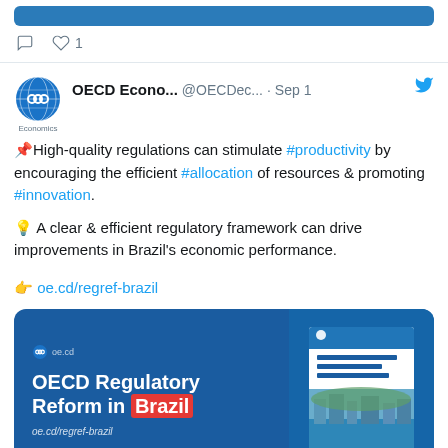[Figure (screenshot): Top of a previous tweet showing a blue banner and engagement icons (comment icon, heart icon with count 1)]
OECD Econo... @OECDec... · Sep 1
📌High-quality regulations can stimulate #productivity by encouraging the efficient #allocation of resources & promoting #innovation.

💡 A clear & efficient regulatory framework can drive improvements in Brazil's economic performance.

👉 oe.cd/regref-brazil
[Figure (screenshot): OECD Regulatory Reform in Brazil promotional card with blue background, white bold text reading 'OECD Regulatory Reform in Brazil' with Brazil in red highlight, URL oe.cd/regref-brazil, and a thumbnail of the report cover showing a coastal city photo]